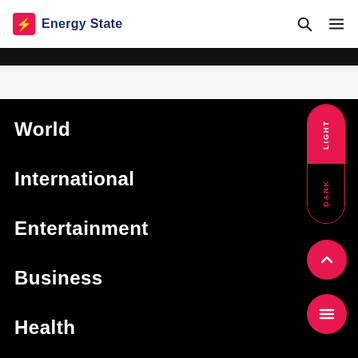Energy State
[Figure (screenshot): Dark banner strip below header]
World
International
Entertainment
Business
Health
[Figure (infographic): Light/Dark mode toggle pill with LIGHT (red) and DARK (black) sections]
[Figure (infographic): Red circular up arrow button]
[Figure (infographic): Red circular hamburger menu button]